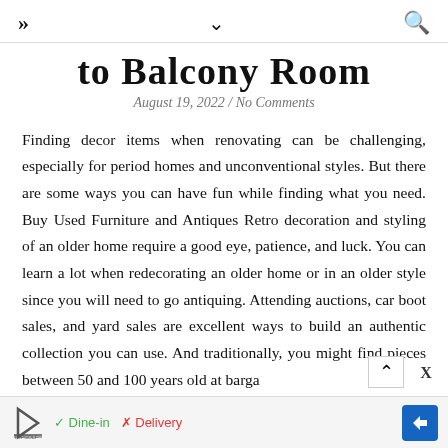» ˅ 🔍
to Balcony Room
August 19, 2022 / No Comments
Finding decor items when renovating can be challenging, especially for period homes and unconventional styles. But there are some ways you can have fun while finding what you need. Buy Used Furniture and Antiques Retro decoration and styling of an older home require a good eye, patience, and luck. You can learn a lot when redecorating an older home or in an older style since you will need to go antiquing. Attending auctions, car boot sales, and yard sales are excellent ways to build an authentic collection you can use. And traditionally, you might find pieces between 50 and 100 years old at barga
[Figure (other): Advertisement banner for TopGolf showing Dine-in and Delivery options with navigation arrow icon]